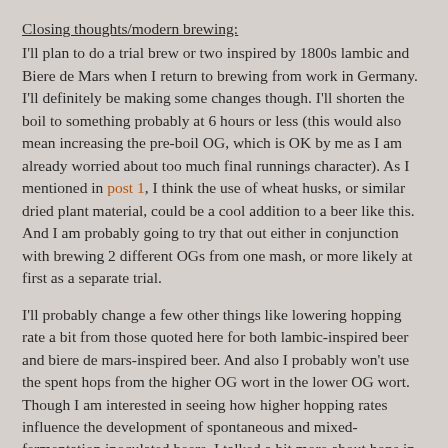Closing thoughts/modern brewing:
I'll plan to do a trial brew or two inspired by 1800s lambic and Biere de Mars when I return to brewing from work in Germany. I'll definitely be making some changes though. I'll shorten the boil to something probably at 6 hours or less (this would also mean increasing the pre-boil OG, which is OK by me as I am already worried about too much final runnings character). As I mentioned in post 1, I think the use of wheat husks, or similar dried plant material, could be a cool addition to a beer like this. And I am probably going to try that out either in conjunction with brewing 2 different OGs from one mash, or more likely at first as a separate trial.
I'll probably change a few other things like lowering hopping rate a bit from those quoted here for both lambic-inspired beer and biere de mars-inspired beer. And also I probably won't use the spent hops from the higher OG wort in the lower OG wort. Though I am interested in seeing how higher hopping rates influence the development of spontaneous and mixed-fermentation inoculated beers. I talked a bit more about hops in post 1, but the use of hops specifically noted as 'young' in lambic is intriguing. I think trying